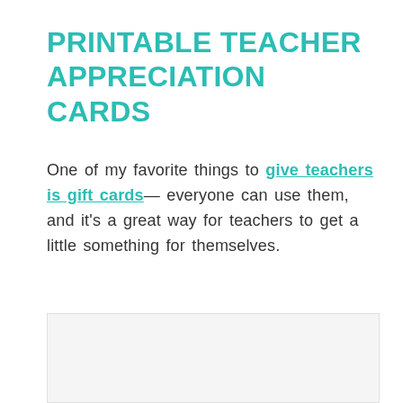PRINTABLE TEACHER APPRECIATION CARDS
One of my favorite things to give teachers is gift cards— everyone can use them, and it's a great way for teachers to get a little something for themselves.
[Figure (other): Partially visible image at the bottom of the page, likely showing teacher appreciation cards]